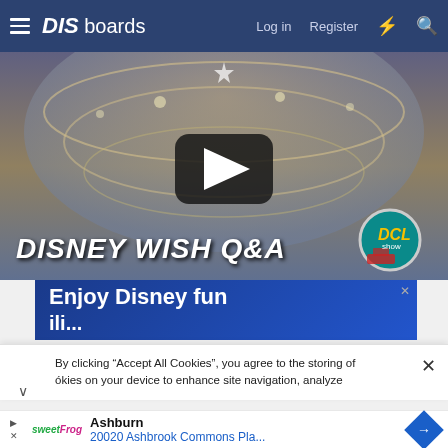DIS boards — Log in   Register
[Figure (screenshot): Video thumbnail showing a Disney cruise ship interior atrium with grand staircase. Large play button in center. Text overlay: DISNEY WISH Q&A. DCL Show badge bottom right.]
[Figure (screenshot): Advertisement banner: Enjoy Disney fun (text cut off)]
By clicking “Accept All Cookies”, you agree to the storing of ókies on your device to enhance site navigation, analyze
Ashburn
20020 Ashbrook Commons Pla...